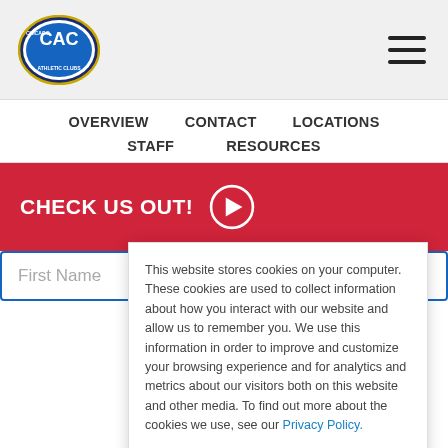[Figure (logo): Chicago Athletic Clubs (CAC) logo — oval with navy/blue border, white and blue design, red text]
OVERVIEW   CONTACT   LOCATIONS   STAFF   RESOURCES
CHECK US OUT!
First Name
This website stores cookies on your computer. These cookies are used to collect information about how you interact with our website and allow us to remember you. We use this information in order to improve and customize your browsing experience and for analytics and metrics about our visitors both on this website and other media. To find out more about the cookies we use, see our Privacy Policy.
I accept
I decline